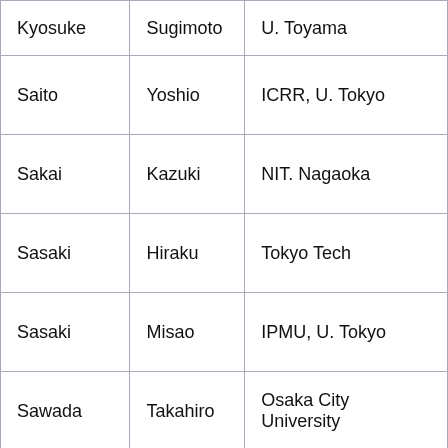| Kyosuke | Sugimoto | U. Toyama |
| Saito | Yoshio | ICRR, U. Tokyo |
| Sakai | Kazuki | NIT. Nagaoka |
| Sasaki | Hiraku | Tokyo Tech |
| Sasaki | Misao | IPMU, U. Tokyo |
| Sawada | Takahiro | Osaka City University |
| Sekiguchi | Yuichiro | Toho U. |
| Shinkai | Hisaaki | Osaka Institute of Technology |